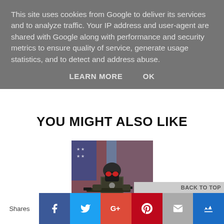This site uses cookies from Google to deliver its services and to analyze traffic. Your IP address and user-agent are shared with Google along with performance and security metrics to ensure quality of service, generate usage statistics, and to detect and address abuse.
LEARN MORE    OK
YOU MIGHT ALSO LIKE
[Figure (photo): A masked soldier in tactical gear holding a rifle, with an American flag background.]
Shares
[Figure (infographic): Social share bar with Facebook, Twitter, Google+, Pinterest, Email, and Crown buttons at the bottom of the page.]